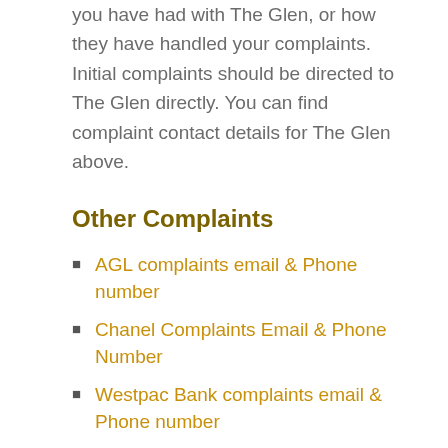you have had with The Glen, or how they have handled your complaints. Initial complaints should be directed to The Glen directly. You can find complaint contact details for The Glen above.
Other Complaints
AGL complaints email & Phone number
Chanel Complaints Email & Phone Number
Westpac Bank complaints email & Phone number
Tags: the glen complaint email,  the glen complaint number,  the glen corporate office